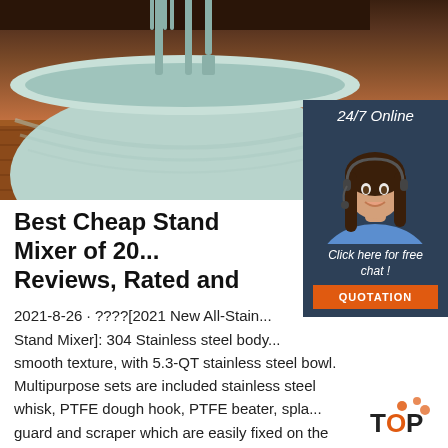[Figure (photo): Hero image showing a light mint/sage green stand mixer bowl with utensils (fork, knife) visible above, on a wooden surface with dark background.]
[Figure (infographic): Sidebar widget with dark blue background showing '24/7 Online' text, a female customer service agent with headset, 'Click here for free chat!' text, and an orange QUOTATION button.]
Best Cheap Stand Mixer of 20... Reviews, Rated and
2021-8-26 · ????[2021 New All-Stain... Stand Mixer]: 304 Stainless steel body... smooth texture, with 5.3-QT stainless steel bowl. Multipurpose sets are included stainless steel whisk, PTFE dough hook, PTFE beater, splash guard and scraper which are easily fixed on the shaft. 360°planetary trajectory mixing to make